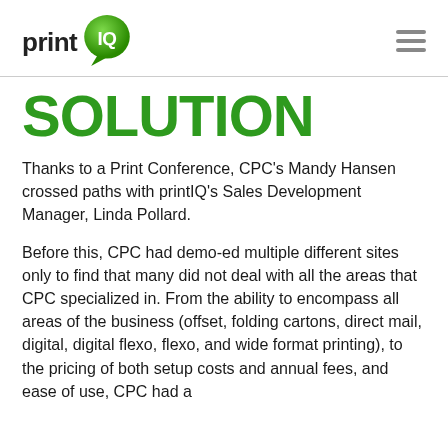[Figure (logo): printIQ logo with green speech bubble containing 'IQ' in white text, next to 'print' in dark bold text]
SOLUTION
Thanks to a Print Conference, CPC's Mandy Hansen crossed paths with printIQ's Sales Development Manager, Linda Pollard.
Before this, CPC had demo-ed multiple different sites only to find that many did not deal with all the areas that CPC specialized in. From the ability to encompass all areas of the business (offset, folding cartons, direct mail, digital, digital flexo, flexo, and wide format printing), to the pricing of both setup costs and annual fees, and ease of use, CPC had a